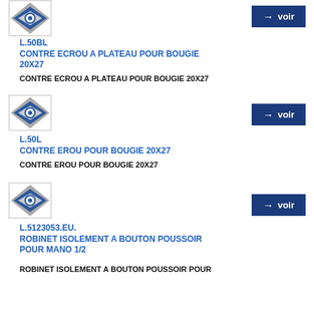[Figure (logo): Product placeholder image with blue and grey diamond/gear icon]
→ voir
L.50BL
CONTRE ECROU A PLATEAU POUR BOUGIE 20X27
CONTRE ECROU A PLATEAU POUR BOUGIE 20X27
[Figure (logo): Product placeholder image with blue and grey diamond/gear icon]
→ voir
L.50L
CONTRE EROU POUR BOUGIE 20X27
CONTRE EROU POUR BOUGIE 20X27
[Figure (logo): Product placeholder image with blue and grey diamond/gear icon]
→ voir
L.5123053.EU.
ROBINET ISOLEMENT A BOUTON POUSSOIR POUR MANO 1/2
ROBINET ISOLEMENT A BOUTON POUSSOIR POUR